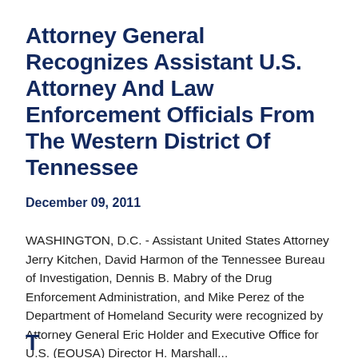Attorney General Recognizes Assistant U.S. Attorney And Law Enforcement Officials From The Western District Of Tennessee
December 09, 2011
WASHINGTON, D.C. - Assistant United States Attorney Jerry Kitchen, David Harmon of the Tennessee Bureau of Investigation, Dennis B. Mabry of the Drug Enforcement Administration, and Mike Perez of the Department of Homeland Security were recognized by Attorney General Eric Holder and Executive Office for U.S. (EOUSA) Director H. Marshall...